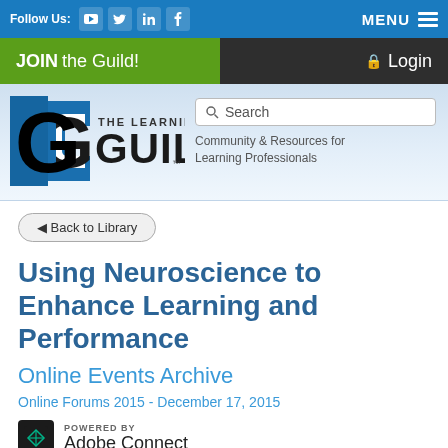Follow Us: [YouTube] [Twitter] [LinkedIn] [Facebook]    MENU ≡
JOIN the Guild!    🔒 Login
[Figure (logo): The Learning Guild logo — stylized G with blue shield, text 'THE LEARNING GUILD']
Community & Resources for Learning Professionals
◀ Back to Library
Using Neuroscience to Enhance Learning and Performance
Online Events Archive
Online Forums 2015 - December 17, 2015
[Figure (logo): Adobe Connect logo — dark square with green/teal Adobe icon, text 'POWERED BY Adobe Connect']